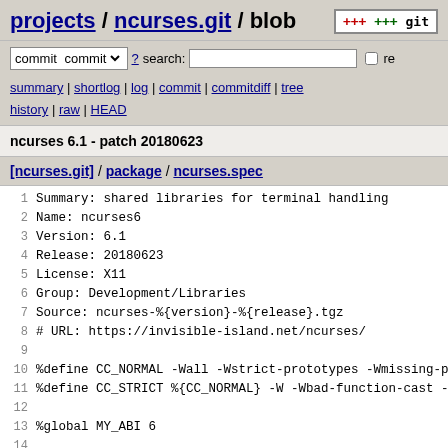projects / ncurses.git / blob
commit ? search: re
summary | shortlog | log | commit | commitdiff | tree history | raw | HEAD
ncurses 6.1 - patch 20180623
[ncurses.git] / package / ncurses.spec
1 Summary: shared libraries for terminal handling
2 Name: ncurses6
3 Version: 6.1
4 Release: 20180623
5 License: X11
6 Group: Development/Libraries
7 Source: ncurses-%{version}-%{release}.tgz
8 # URL: https://invisible-island.net/ncurses/
9 
10 %define CC_NORMAL -Wall -Wstrict-prototypes -Wmissing-p
11 %define CC_STRICT %{CC_NORMAL} -W -Wbad-function-cast -
12 
13 %global MY_ABI 6
14 
15 # save value before redefining
16 %global sys_libdir %{_libdir}
17 
18 # was redefined...
19 #global prefix /usr/local/ncurses#{MY_ABI}